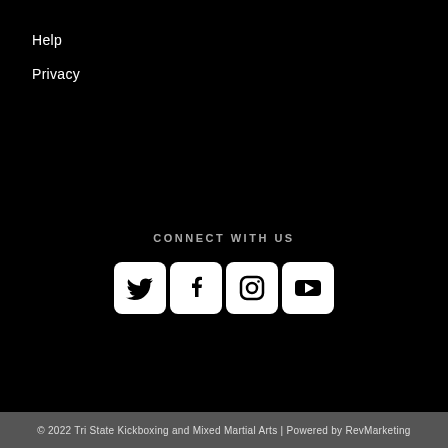Help
Privacy
CONNECT WITH US
[Figure (infographic): Social media icons row: Twitter, Facebook, Instagram, YouTube — white rounded square icons on black background]
© 2022 Tri State Kickboxing and Mixed Martial Arts | Powered by RevMarketing